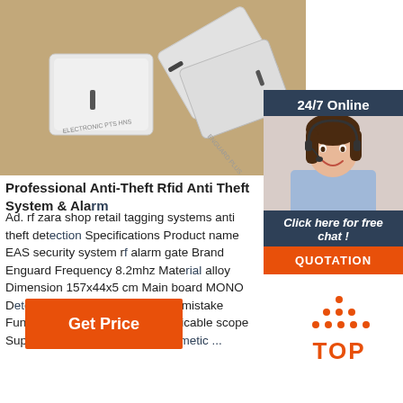[Figure (photo): White RFID security cards/tags stacked together on a beige/tan background]
[Figure (photo): 24/7 Online chat widget showing a smiling woman with a headset, with 'Click here for free chat!' text and a QUOTATION orange button]
Professional Anti-Theft Rfid Anti Theft System & Alarm
Ad. rf zara shop retail tagging systems anti theft detection Specifications Product name EAS security system rf alarm gate Brand Enguard Frequency 8.2mhz Material alloy Dimension 157x44x5 cm Main board MONO Detect sensitivity and low mistake Function Install on anti theft Applicable scope Supermarket, clothing store, cosmetic ...
[Figure (other): Orange 'Get Price' button]
[Figure (logo): Orange TOP logo with dots forming a triangle above the text TOP]